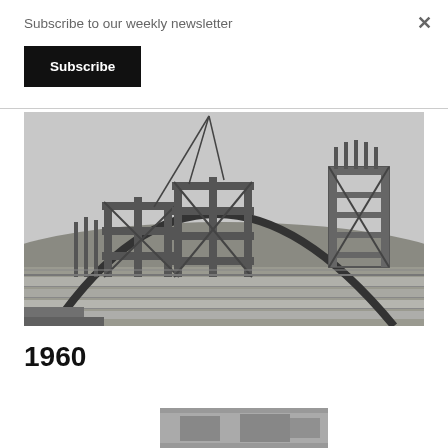Subscribe to our weekly newsletter
Subscribe
[Figure (photo): Black and white historical photograph showing a large arched structure under construction, surrounded by wooden scaffolding. A tall scaffolding tower stands on the right side. In the foreground are rows of concrete bleachers or terracing. The scene appears to be a stadium or arena being built, circa 1960.]
1960
[Figure (photo): Partial view of another historical photograph, partially cut off at the bottom of the page.]